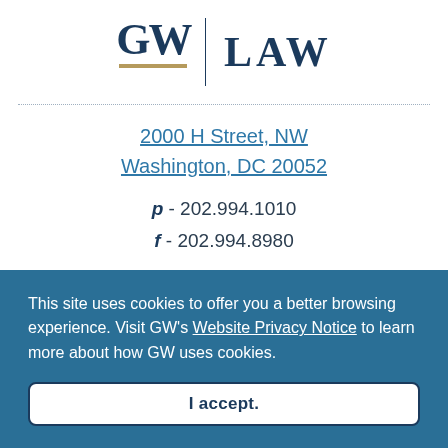[Figure (logo): GW Law school logo with GW text above gold underline bar, vertical divider, and LAW text]
2000 H Street, NW
Washington, DC 20052
p - 202.994.1010
f - 202.994.8980
Visitor Information
This site uses cookies to offer you a better browsing experience. Visit GW's Website Privacy Notice to learn more about how GW uses cookies.
I accept.